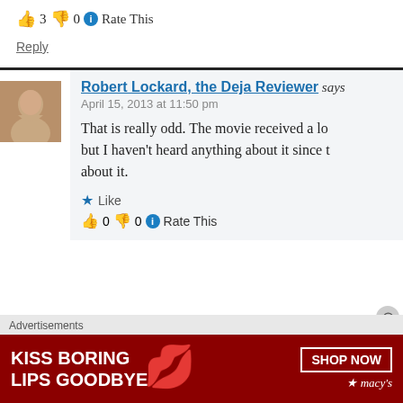👍 3 👎 0 ℹ Rate This
Reply
Robert Lockard, the Deja Reviewer says
April 15, 2013 at 11:50 pm
That is really odd. The movie received a lo... but I haven't heard anything about it since t... about it.
Like
👍 0 👎 0 ℹ Rate This
Advertisements
[Figure (photo): Macy's advertisement banner: KISS BORING LIPS GOODBYE with SHOP NOW button and Macy's logo]